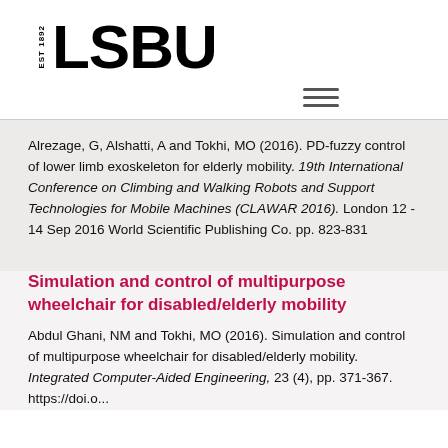[Figure (logo): LSBU logo with EST 1892 text and bold LSBU wordmark]
Alrezage, G, Alshatti, A and Tokhi, MO (2016). PD-fuzzy control of lower limb exoskeleton for elderly mobility. 19th International Conference on Climbing and Walking Robots and Support Technologies for Mobile Machines (CLAWAR 2016). London 12 - 14 Sep 2016 World Scientific Publishing Co. pp. 823-831
Simulation and control of multipurpose wheelchair for disabled/elderly mobility
Abdul Ghani, NM and Tokhi, MO (2016). Simulation and control of multipurpose wheelchair for disabled/elderly mobility. Integrated Computer-Aided Engineering, 23 (4), pp. 371-367. https://doi.o...